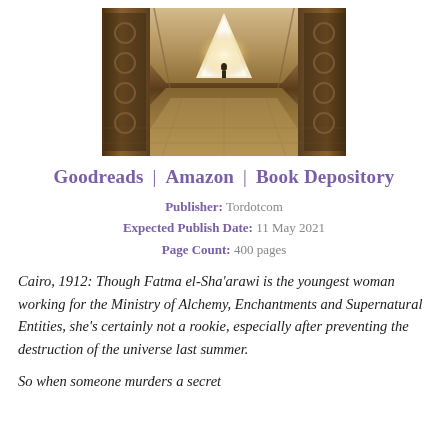[Figure (photo): A grand ornate hallway or temple interior with arched ceiling, decorative tiled columns on sides, and a silhouetted figure walking toward a bright triangular light at the far end. Warm golden-brown tones with intricate patterns.]
Goodreads | Amazon | Book Depository
Publisher: Tordotcom
Expected Publish Date: 11 May 2021
Page Count: 400 pages
Cairo, 1912: Though Fatma el-Sha'arawi is the youngest woman working for the Ministry of Alchemy, Enchantments and Supernatural Entities, she's certainly not a rookie, especially after preventing the destruction of the universe last summer.
So when someone murders a secret